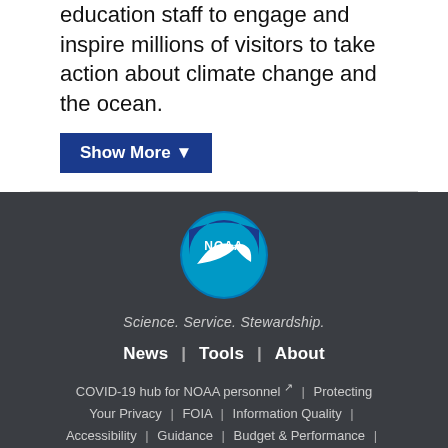education staff to engage and inspire millions of visitors to take action about climate change and the ocean.
Show More ▼
[Figure (logo): NOAA circular logo with bird silhouette and blue/white coloring]
Science. Service. Stewardship.
News | Tools | About
COVID-19 hub for NOAA personnel ↗ | Protecting Your Privacy | FOIA | Information Quality | Accessibility | Guidance | Budget & Performance | Disclaimer | EEO | No Fear Act | USA...